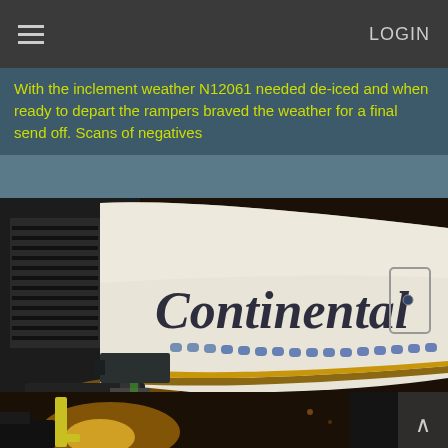LOGIN
With the inclement weather N12061 needed de-iced and when ready to depart the rampers braved the weather for a final send off. Scans of negatives
[Figure (photo): Night photo of a Continental Airlines wide-body aircraft at a gate, showing the fuselage with 'Continental' lettering, windows, ground equipment labeled '466' and '061', with de-icing equipment visible in warm amber lighting]
[Figure (photo): Bottom portion of a nighttime airport scene showing ground equipment and lighting with amber/yellow tones, partially visible below the main photo]